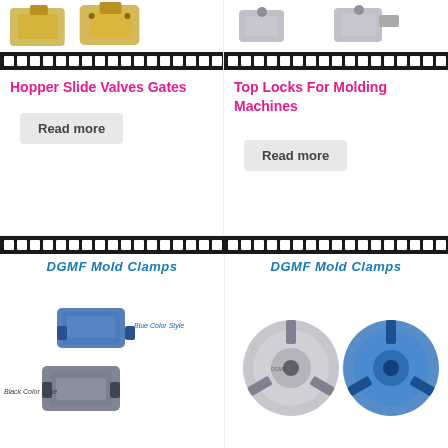[Figure (photo): Hopper slide valve gate hardware parts (top-left, partially visible)]
[Figure (photo): Top locks for molding machines hardware parts (top-right, partially visible)]
Hopper Slide Valves Gates
Read more
Top Locks For Molding Machines
Read more
[Figure (photo): DGMF Mold Clamps - Blue Color Style and Black Color Style mold clamps]
[Figure (photo): DGMF Mold Clamps - metallic and blue chuck/lathe clamps]